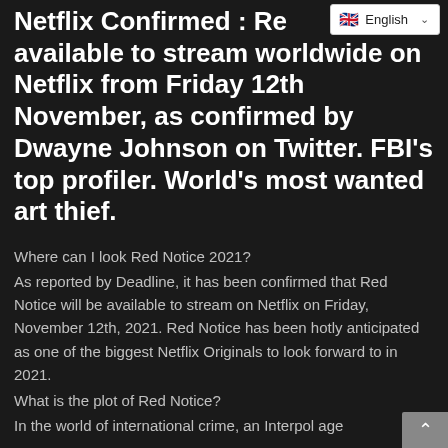Netflix Confirmed : Red Notice available to stream worldwide on Netflix from Friday 12th November, as confirmed by Dwayne Johnson on Twitter. FBI's top profiler. World's most wanted art thief.
Where can I look Red Notice 2021?
As reported by Deadline, it has been confirmed that Red Notice will be available to stream on Netflix on Friday, November 12th, 2021. Red Notice has been hotly anticipated as one of the biggest Netflix Originals to look forward to in 2021.
What is the plot of Red Notice?
In the world of international crime, an Interpol agent